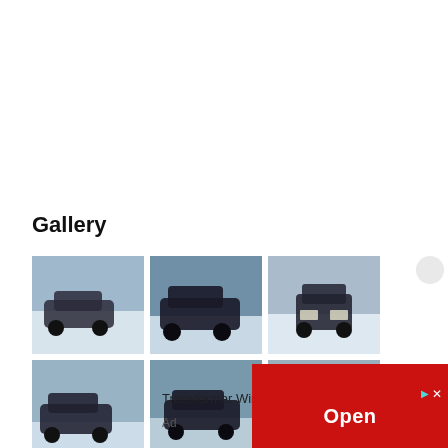Gallery
[Figure (photo): Grid of 6 thumbnail photos showing a dark SUV/car driving in snowy winter conditions, plus partial 3rd row. Photos arranged in 3 columns x 3 rows.]
Transformer Winding Machine
Ad
[Figure (other): Red advertisement banner with 'Open' button in white text, and small close/ad icons in top right corner.]